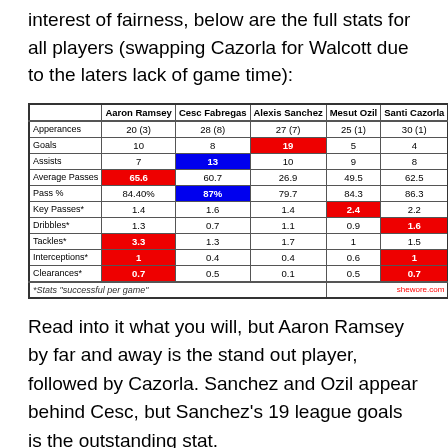interest of fairness, below are the full stats for all players (swapping Cazorla for Walcott due to the laters lack of game time):
|  | Aaron Ramsey | Cesc Fabregas | Alexis Sanchez | Mesut Ozil | Santi Cazorla |
| --- | --- | --- | --- | --- | --- |
| Apperances | 20 (3) | 28 (8) | 27 (7) | 25 (1) | 30 (1) |
| Goals | 10 | 8 | 19 | 5 | 4 |
| Assists | 7 | 13 | 10 | 9 | 8 |
| Average Passes | 65.6 | 60.7 | 26.9 | 49.5 | 62.5 |
| Pass % | 84.40% | 87% | 79.7 | 84.3 | 86.3 |
| Key Passes* | 1.4 | 1.6 | 1.4 | 2.4 | 2.2 |
| Dribbles* | 1.3 | 0.7 | 1.1 | 0.9 | 1.6 |
| Tackles* | 3.3 | 1.3 | 1.7 | 1 | 1.5 |
| Interceptions* | 1 | 0.4 | 0.4 | 0.6 | 1 |
| Clearances* | 0.7 | 0.5 | 0.1 | 0.5 | 0.7 |
Read into it what you will, but Aaron Ramsey by far and away is the stand out player, followed by Cazorla. Sanchez and Ozil appear behind Cesc, but Sanchez's 19 league goals is the outstanding stat.
Now what if we created a league for the players to create